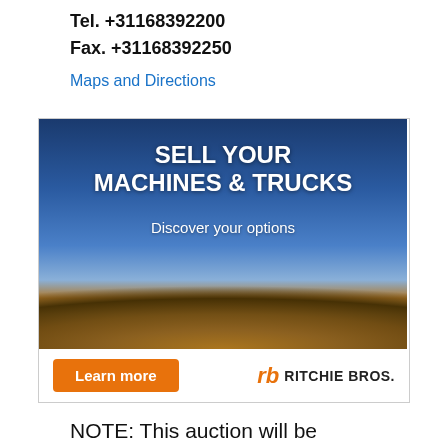Tel. +31168392200
Fax. +31168392250
Maps and Directions
[Figure (illustration): Ritchie Bros. advertisement banner: 'SELL YOUR MACHINES & TRUCKS – Discover your options' with aerial photo of machinery yard, orange Learn more button, and Ritchie Bros. logo.]
NOTE: This auction will be Timed Auction Lots (TAL) Only
NOTE: This auction will have Timed Auction Lots (TAL). We will organize limited viewing days on July